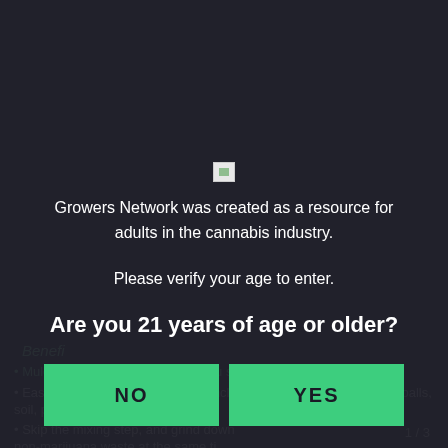[Figure (screenshot): Age verification modal dialog overlay on a dark background. The modal contains a broken image icon, introductory text about Growers Network, a prompt to verify age, a bold question 'Are you 21 years of age or older?', and two green buttons labeled NO and YES. Behind the modal, dimmed page content is partially visible including bullet points about marijuana waste processing equipment.]
Growers Network was created as a resource for adults in the cannabis industry.
Please verify your age to enter.
Are you 21 years of age or older?
NO
YES
Benefits
Mulch marijuana waste to help you stay compliant
Easily grinds wet or dry material including entire plants, large root balls, soil, plastic pots or other waste
Skip the mixing step, and grind down non-marijuana waste at the same ti
1 / 3